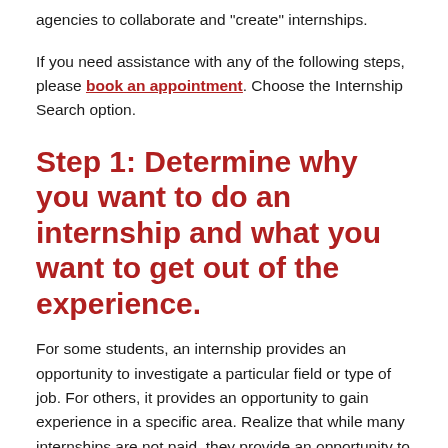agencies to collaborate and “create” internships.
If you need assistance with any of the following steps, please book an appointment. Choose the Internship Search option.
Step 1: Determine why you want to do an internship and what you want to get out of the experience.
For some students, an internship provides an opportunity to investigate a particular field or type of job. For others, it provides an opportunity to gain experience in a specific area. Realize that while many internships are not paid, they provide an opportunity to gain new skills and build relationships with people